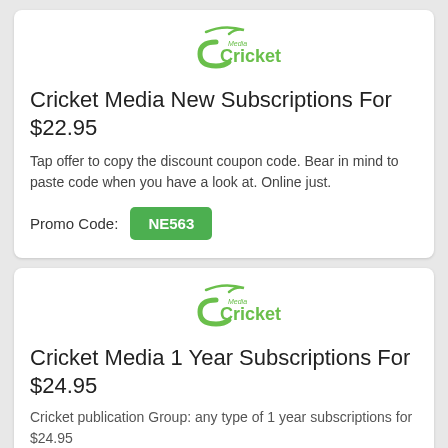[Figure (logo): Cricket Media logo with green swoosh and text]
Cricket Media New Subscriptions For $22.95
Tap offer to copy the discount coupon code. Bear in mind to paste code when you have a look at. Online just.
Promo Code: NE563
[Figure (logo): Cricket Media logo with green swoosh and text]
Cricket Media 1 Year Subscriptions For $24.95
Cricket publication Group: any type of 1 year subscriptions for $24.95